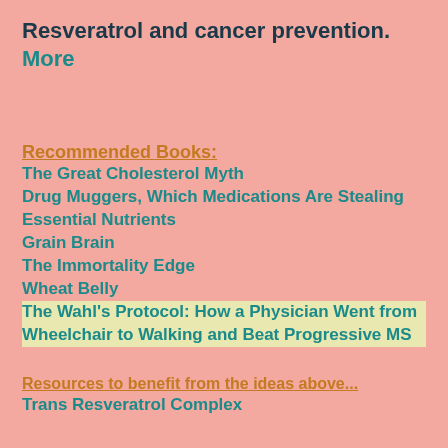Resveratrol and cancer prevention.
More
Recommended Books:
The Great Cholesterol Myth
Drug Muggers, Which Medications Are Stealing Essential Nutrients
Grain Brain
The Immortality Edge
Wheat Belly
The Wahl's Protocol: How a Physician Went from Wheelchair to Walking and Beat Progressive MS
Resources to benefit from the ideas above...
Trans Resveratrol Complex